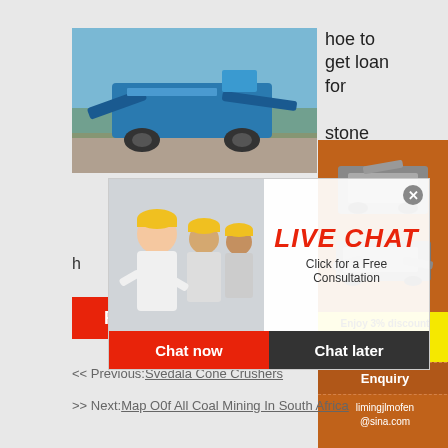[Figure (photo): Blue mobile stone crusher / screening machine on a construction site with blue sky background]
hoe to get loan for stone crusher
[Figure (photo): Orange sidebar with two small crusher machine product images]
[Figure (infographic): Live chat popup overlay showing workers in hard hats, LIVE CHAT title in red, Click for a Free Consultation subtitle, Chat now and Chat later buttons]
h
[Figure (screenshot): Read More button in red]
Enjoy 3% discount
Click to Chat
Enquiry
limingjlmofen@sina.com
<< Previous:Svedala Cone Crushers
>> Next:Map O0f All Coal Mining In South Africa